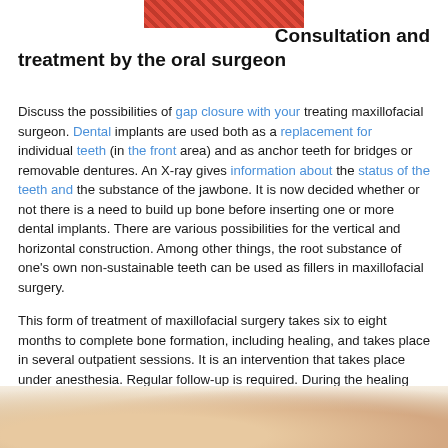[Figure (photo): Decorative banner image at top of page, partially visible]
Consultation and treatment by the oral surgeon
Discuss the possibilities of gap closure with your treating maxillofacial surgeon. Dental implants are used both as a replacement for individual teeth (in the front area) and as anchor teeth for bridges or removable dentures. An X-ray gives information about the status of the teeth and the substance of the jawbone. It is now decided whether or not there is a need to build up bone before inserting one or more dental implants. There are various possibilities for the vertical and horizontal construction. Among other things, the root substance of one’s own non-sustainable teeth can be used as fillers in maxillofacial surgery.
This form of treatment of maxillofacial surgery takes six to eight months to complete bone formation, including healing, and takes place in several outpatient sessions. It is an intervention that takes place under anesthesia. Regular follow-up is required. During the healing phase, you will
[Figure (photo): Partial photo at bottom of page, appears to show dental or medical subject]